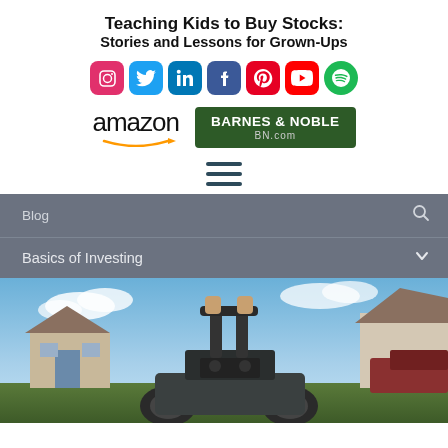Teaching Kids to Buy Stocks: Stories and Lessons for Grown-Ups
[Figure (infographic): Row of 7 social media icons: Instagram (pink/red), Twitter (blue), LinkedIn (blue), Facebook (dark blue), Pinterest (red), YouTube (red), Spotify (green circle)]
[Figure (logo): Amazon logo with orange arrow underneath, and Barnes & Noble BN.com green logo box]
[Figure (infographic): Hamburger menu icon (three horizontal lines)]
Blog
Basics of Investing
[Figure (photo): Photo of a person pushing a lawn mower from behind, suburban neighborhood with houses and blue sky in background]